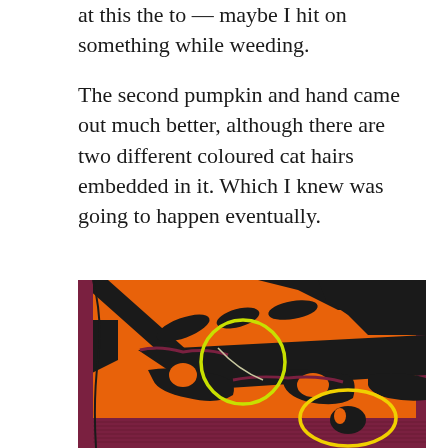at this the to — maybe I hit on something while weeding.
The second pumpkin and hand came out much better, although there are two different coloured cat hairs embedded in it. Which I knew was going to happen eventually.
[Figure (photo): Close-up photo of orange and black Halloween fabric/print showing pumpkin and skeleton hand design, with two yellow/green circles drawn on it highlighting cat hairs embedded in the fabric.]